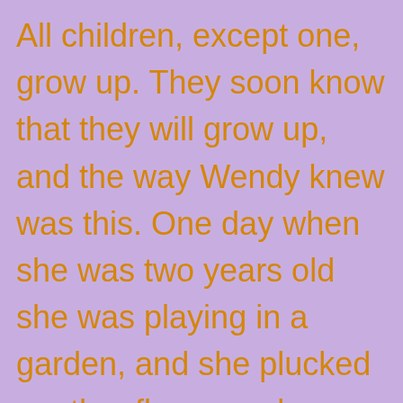All children, except one, grow up. They soon know that they will grow up, and the way Wendy knew was this. One day when she was two years old she was playing in a garden, and she plucked another flower and ran with it to her mother. I suppose she must have looked rather